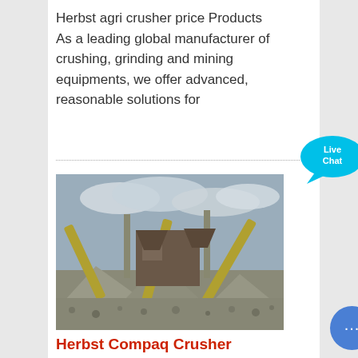Herbst agri crusher price Products As a leading global manufacturer of crushing, grinding and mining equipments, we offer advanced, reasonable solutions for
[Figure (photo): Industrial crushing/mining plant with conveyor belts and piles of gravel/aggregate material under overcast sky]
[Figure (infographic): Live Chat widget bubble with cyan speech bubble and X close button]
Herbst Compaq Crusher